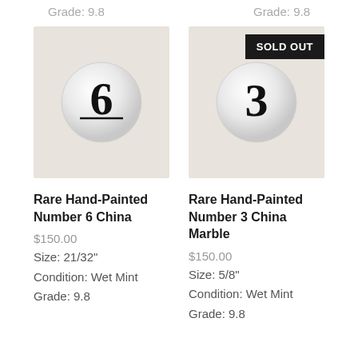Grade: 9.8
Grade: 9.8
[Figure (photo): White marble ball with number 6 hand-painted in black]
[Figure (photo): White marble ball with number 3 hand-painted in black, with SOLD OUT badge]
Rare Hand-Painted Number 6 China
$150.00
Size: 21/32"
Condition: Wet Mint
Grade: 9.8
Rare Hand-Painted Number 3 China Marble
$150.00
Size: 5/8"
Condition: Wet Mint
Grade: 9.8